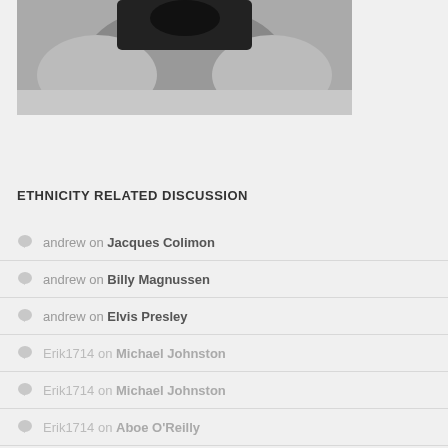[Figure (photo): Black and white historical photograph, partially cropped, showing a person with a beard]
ETHNICITY RELATED DISCUSSION
andrew on Jacques Colimon
andrew on Billy Magnussen
andrew on Elvis Presley
Erik1714 on Michael Johnston
Erik1714 on Michael Johnston
Erik1714 on Aboe O'Reilly